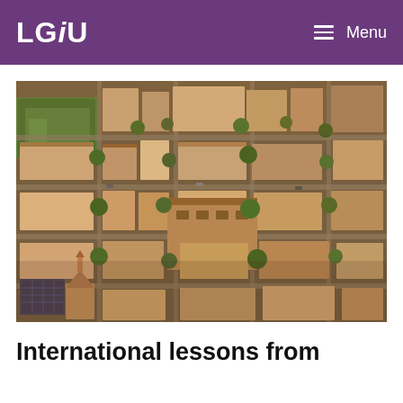LGiU  Menu
[Figure (photo): Aerial view of a dense urban residential neighborhood with rows of houses, trees lining streets, flat rooftops, and a green park visible in the upper left corner. Warm late-afternoon lighting illuminates the scene.]
International lessons from